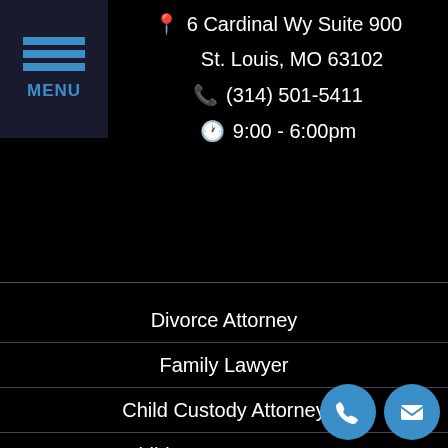[Figure (other): Menu icon with three blue horizontal bars and MENU label]
6 Cardinal Wy Suite 900
St. Louis, MO 63102
(314) 501-5411
9:00 - 6:00pm
Divorce Attorney
Family Lawyer
Child Custody Attorney
Child Support Attorney
Father's Rights Attorney
Domestic Violence Attorney
Privacy Policy
Terms of Service
Contact Us